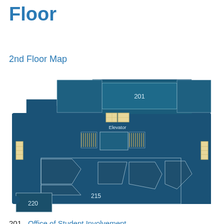Floor
2nd Floor Map
[Figure (engineering-diagram): 2nd floor building map showing rooms 201, 215, 220, elevator, stairs, and other spaces rendered as a dark teal/blue floor plan with yellow highlighted windows and elevator.]
201    Office of Student Involvement
         Student Government Association (SGA)